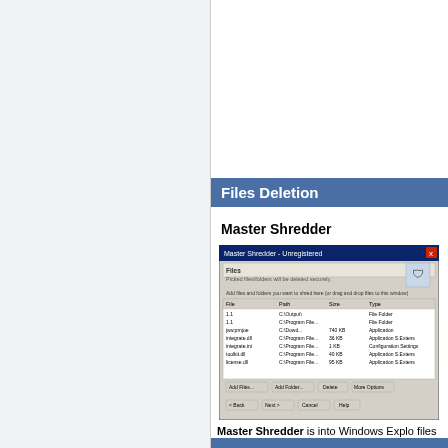Files Deletion
Master Shredder
[Figure (screenshot): Master Shredder application window showing file list with columns: File, Path, Size, Type. Buttons: Add Files, Add Folder, Delete, More Options, < Back, Next >, Cancel, Help]
Master Shredder is into Windows Explo files using 18 strong Peter Gutmann algo
Download trial ver
mastershredder_setu
mastershredder.zi
Buy Now